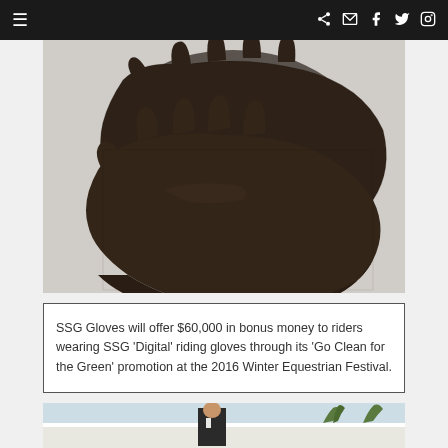≡  share mail f twitter instagram
[Figure (photo): Close-up photograph of dark brown textured leather riding gloves (SSG Digital gloves) against a light background]
SSG Gloves will offer $60,000 in bonus money to riders wearing SSG 'Digital' riding gloves through its 'Go Clean for the Green' promotion at the 2016 Winter Equestrian Festival.
[Figure (photo): Partial view of a man in formal equestrian attire outdoors with palm trees and white fencing visible in the background]